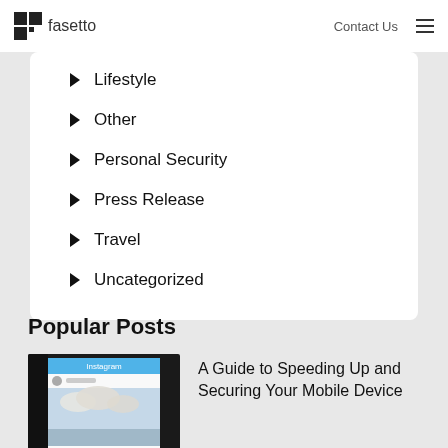fasetto | Contact Us
Lifestyle
Other
Personal Security
Press Release
Travel
Uncategorized
Popular Posts
[Figure (screenshot): Instagram app screenshot on a mobile phone showing a photo of cloudy sky over water]
A Guide to Speeding Up and Securing Your Mobile Device